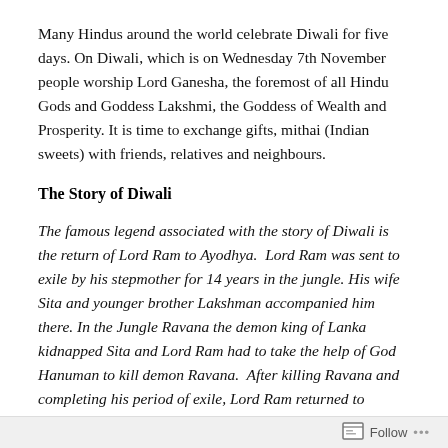Many Hindus around the world celebrate Diwali for five days. On Diwali, which is on Wednesday 7th November people worship Lord Ganesha, the foremost of all Hindu Gods and Goddess Lakshmi, the Goddess of Wealth and Prosperity. It is time to exchange gifts, mithai (Indian sweets) with friends, relatives and neighbours.
The Story of Diwali
The famous legend associated with the story of Diwali is the return of Lord Ram to Ayodhya.  Lord Ram was sent to exile by his stepmother for 14 years in the jungle. His wife Sita and younger brother Lakshman accompanied him there. In the Jungle Ravana the demon king of Lanka kidnapped Sita and Lord Ram had to take the help of God Hanuman to kill demon Ravana.  After killing Ravana and completing his period of exile, Lord Ram returned to
Follow